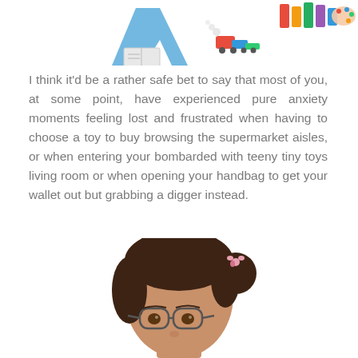[Figure (illustration): Colorful children's book illustration at the top of the page showing cartoon drawings of toys, books, and a train. Partially cropped — only the lower portion of the illustrated figures visible.]
I think it'd be a rather safe bet to say that most of you, at some point, have experienced pure anxiety moments feeling lost and frustrated when having to choose a toy to buy browsing the supermarket aisles, or when entering your bombarded with teeny tiny toys living room or when opening your handbag to get your wallet out but grabbing a digger instead.
[Figure (photo): Photo of a young girl with dark hair styled in a bun with a clip/flower accessory, wearing glasses, cropped to show the top of her head and face from approximately the nose up. Bottom of the page.]